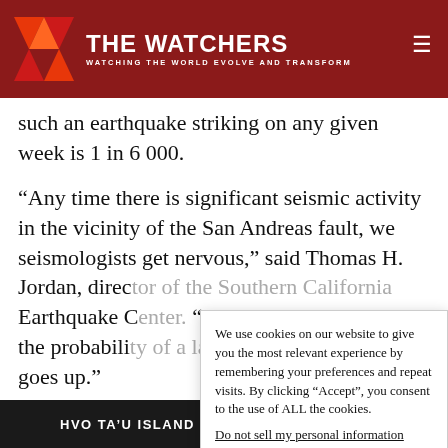THE WATCHERS — WATCHING THE WORLD EVOLVE AND TRANSFORM
such an earthquake striking on any given week is 1 in 6 000.
“Any time there is significant seismic activity in the vicinity of the San Andreas fault, we seismologists get nervous,” said Thomas H. Jordan, direc[tor of the Southern California] Earthquake C[enter.] “Every time this happens, the probabili[ty of a large earthquake occurring] goes up.”
As seismic ac[tivity increases, the chance of] having a larg[e earthquake also rises.]
We use cookies on our website to give you the most relevant experience by remembering your preferences and repeat visits. By clicking “Accept”, you consent to the use of ALL the cookies.
Do not sell my personal information.
HVO TA’U ISLAND YELLOW/